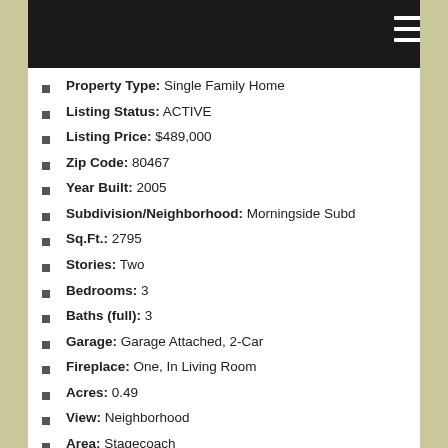Property Type: Single Family Home
Listing Status: ACTIVE
Listing Price: $489,000
Zip Code: 80467
Year Built: 2005
Subdivision/Neighborhood: Morningside Subd
Sq.Ft.: 2795
Stories: Two
Bedrooms: 3
Baths (full): 3
Garage: Garage Attached, 2-Car
Fireplace: One, In Living Room
Acres: 0.49
View: Neighborhood
Area: Stagecoach
Sub-Type: Single Family
School: South Routt Co
Sq Ft Source: Assessor
HOA Fee: 49
HOA Per: Yearly